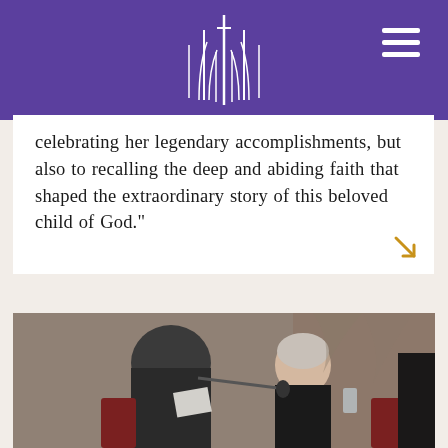[Cathedral logo and navigation]
celebrating her legendary accomplishments, but also to recalling the deep and abiding faith that shaped the extraordinary story of this beloved child of God."
[Figure (photo): Two people seated in conversation at what appears to be a church or formal event. A man in a dark suit holds a microphone and papers, speaking with a woman seated across from him. Red chairs visible, ornate stone architecture in background.]